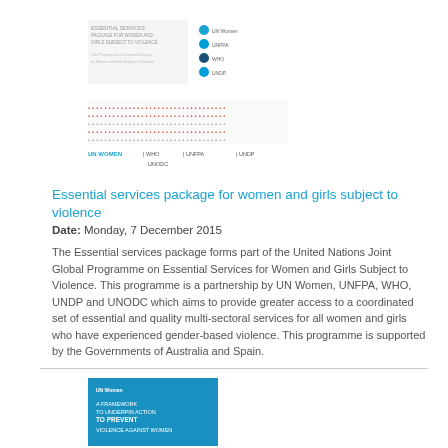[Figure (logo): Essential Services package document cover thumbnail with UN agency logos]
[Figure (illustration): Dot pattern graphic with UN Women, UNFPA, WHO, UNDP, UNODC logos below]
Essential services package for women and girls subject to violence
Date: Monday, 7 December 2015
The Essential services package forms part of the United Nations Joint Global Programme on Essential Services for Women and Girls Subject to Violence. This programme is a partnership by UN Women, UNFPA, WHO, UNDP and UNODC which aims to provide greater access to a coordinated set of essential and quality multi-sectoral services for all women and girls who have experienced gender-based violence. This programme is supported by the Governments of Australia and Spain.
[Figure (illustration): Blue book cover thumbnail: A Framework to Underpin Action to Prevent Violence Against Women]